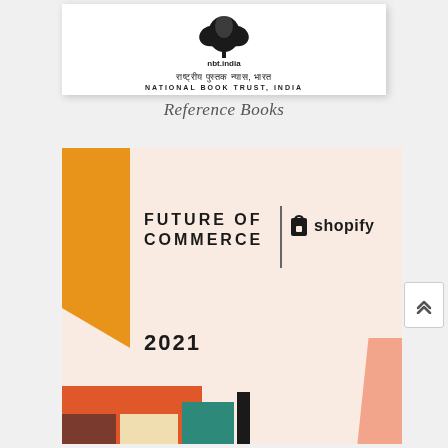[Figure (logo): National Book Trust India (nbt.india) logo with tree symbol, Hindi text राष्ट्रीय पुस्तक न्यास, भारत and English text NATIONAL BOOK TRUST, INDIA]
Reference Books
[Figure (illustration): Book cover for 'Future of Commerce 2021' by Shopify. Features orange left bar, cream/pink background, bold uppercase text 'FUTURE OF COMMERCE' with a vertical divider line and Shopify logo to the right, year '2021' below, and colorful abstract shapes at bottom.]